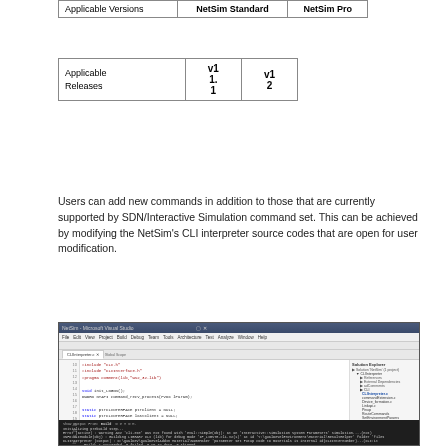| Applicable Versions | NetSim Standard | NetSim Pro |
| --- | --- | --- |
| Applicable Releases | v11.1 | v12 |
| --- | --- | --- |
Users can add new commands in addition to those that are currently supported by SDN/Interactive Simulation command set. This can be achieved by modifying the NetSim's CLI interpreter source codes that are open for user modification.
[Figure (screenshot): Screenshot of NetSim source code open in Microsoft Visual Studio IDE showing CLIInterpreter.c file with C code including includes, init functions, socket and file client declarations, and output panel at the bottom.]